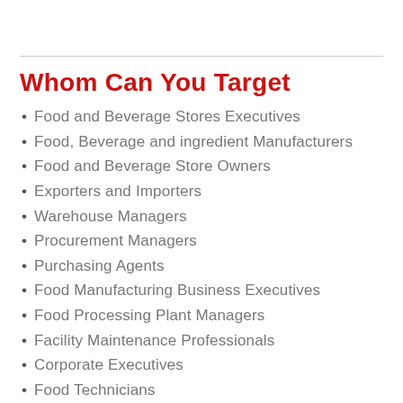Whom Can You Target
Food and Beverage Stores Executives
Food, Beverage and ingredient Manufacturers
Food and Beverage Store Owners
Exporters and Importers
Warehouse Managers
Procurement Managers
Purchasing Agents
Food Manufacturing Business Executives
Food Processing Plant Managers
Facility Maintenance Professionals
Corporate Executives
Food Technicians
Food Packaging Manufacturers
Dairy Products Stores Executives